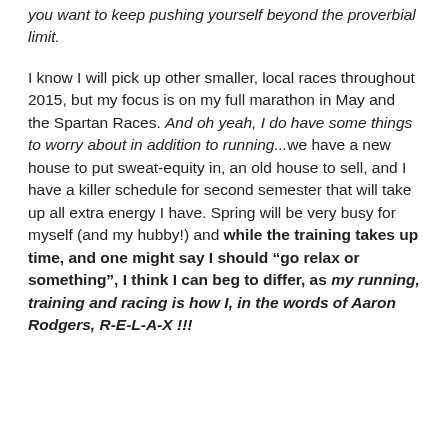you want to keep pushing yourself beyond the proverbial limit.
I know I will pick up other smaller, local races throughout 2015, but my focus is on my full marathon in May and the Spartan Races. And oh yeah, I do have some things to worry about in addition to running...we have a new house to put sweat-equity in, an old house to sell, and I have a killer schedule for second semester that will take up all extra energy I have. Spring will be very busy for myself (and my hubby!) and while the training takes up time, and one might say I should “go relax or something”, I think I can beg to differ, as my running, training and racing is how I, in the words of Aaron Rodgers, R-E-L-A-X !!!